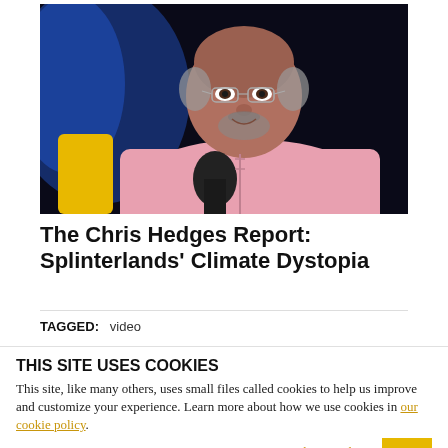[Figure (photo): An older man with glasses and a grey beard wearing a pink shirt, seated in front of a dark background with blue lighting, speaking with a microphone in front of him.]
The Chris Hedges Report: Splinterlands' Climate Dystopia
TAGGED: video
THIS SITE USES COOKIES
This site, like many others, uses small files called cookies to help us improve and customize your experience. Learn more about how we use cookies in our cookie policy.
Learn more about cookies   OK